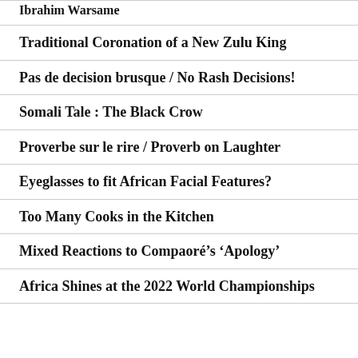Ibrahim Warsame
Traditional Coronation of a New Zulu King
Pas de decision brusque / No Rash Decisions!
Somali Tale : The Black Crow
Proverbe sur le rire / Proverb on Laughter
Eyeglasses to fit African Facial Features?
Too Many Cooks in the Kitchen
Mixed Reactions to Compaoré's ‘Apology’
Africa Shines at the 2022 World Championships